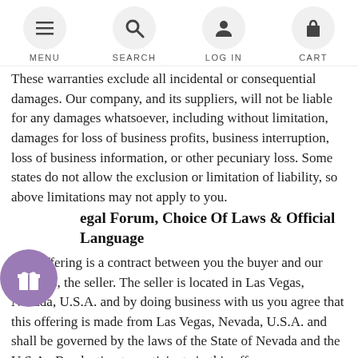MENU | SEARCH | LOG IN | CART
These warranties exclude all incidental or consequential damages. Our company, and its suppliers, will not be liable for any damages whatsoever, including without limitation, damages for loss of business profits, business interruption, loss of business information, or other pecuniary loss. Some states do not allow the exclusion or limitation of liability, so above limitations may not apply to you.
Legal Forum, Choice Of Laws & Official Language
This offering is a contract between you the buyer and our business, the seller. The seller is located in Las Vegas, Nevada, U.S.A. and by doing business with us you agree that this offering is made from Las Vegas, Nevada, U.S.A. and shall be governed by the laws of the State of Nevada and the U.S.A.. By electing to participate in this offer, you are entering into a